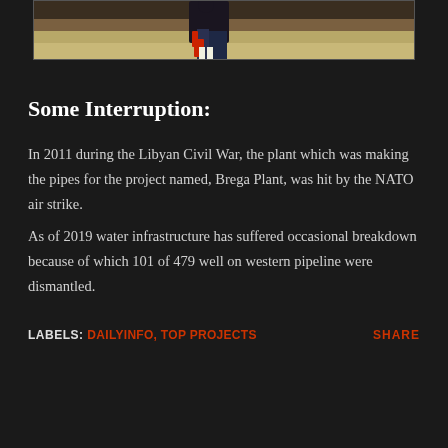[Figure (photo): Partial photo showing bottom of image with a person standing on a light-colored surface, dark background above]
Some Interruption:
In 2011 during the Libyan Civil War, the plant which was making the pipes for the project named, Brega Plant, was hit by the NATO air strike.
As of 2019 water infrastructure has suffered occasional breakdown because of which 101 of 479 well on western pipeline were dismantled.
LABELS: DAILYINFO, TOP PROJECTS   SHARE